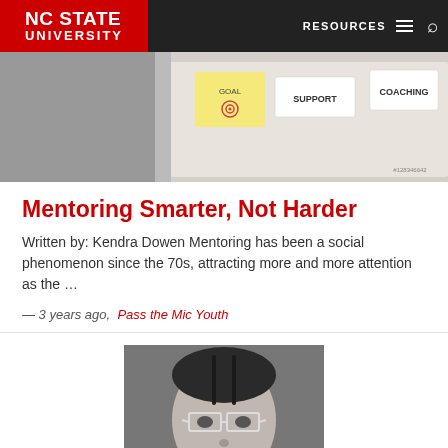NC STATE UNIVERSITY | RESOURCES
[Figure (photo): Top image showing sticky notes with words SUPPORT, COACHING, GOAL and a target symbol on a whiteboard or table]
Mentoring Smarter, Not Harder
Written by: Kendra Dowen Mentoring has been a social phenomenon since the 70s, attracting more and more attention as the …
— 3 years ago,  Pass the Mic Youth
[Figure (photo): Black and white portrait photo of a young woman wearing glasses with tape over her mouth reading DESPEDIDO]